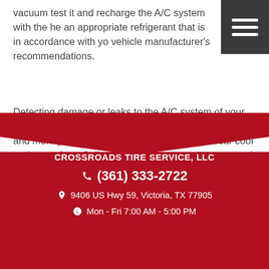vacuum test it and recharge the A/C system with the he an appropriate refrigerant that is in accordance with yo vehicle manufacturer's recommendations.
Detecting damage or leaks to the A/C system of your vehicle sooner rather than later, can save you both time and money, keeping you and everyone in your car cool and worry free. Call us today or come to our auto repair shop and schedule an appointment with our technicians!
CROSSROADS TIRE SERVICE, LLC | (361) 333-2722 | 9406 US Hwy 59, Victoria, TX 77905 | Mon - Fri 7:00 AM - 5:00 PM